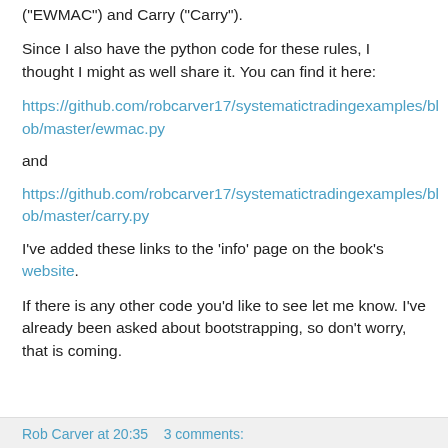("EWMAC") and Carry ("Carry").
Since I also have the python code for these rules, I thought I might as well share it. You can find it here:
https://github.com/robcarver17/systematictradingexamples/blob/master/ewmac.py
and
https://github.com/robcarver17/systematictradingexamples/blob/master/carry.py
I've added these links to the 'info' page on the book's website.
If there is any other code you'd like to see let me know. I've already been asked about bootstrapping, so don't worry, that is coming.
Rob Carver at 20:35   3 comments: